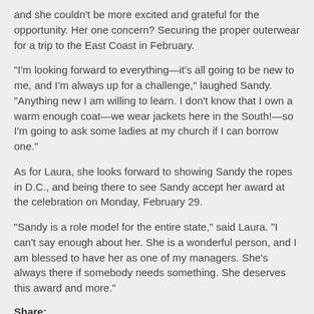and she couldn't be more excited and grateful for the opportunity. Her one concern? Securing the proper outerwear for a trip to the East Coast in February.
“I’m looking forward to everything—it’s all going to be new to me, and I’m always up for a challenge,” laughed Sandy. “Anything new I am willing to learn. I don’t know that I own a warm enough coat—we wear jackets here in the South!—so I’m going to ask some ladies at my church if I can borrow one.”
As for Laura, she looks forward to showing Sandy the ropes in D.C., and being there to see Sandy accept her award at the celebration on Monday, February 29.
“Sandy is a role model for the entire state,” said Laura. “I can’t say enough about her. She is a wonderful person, and I am blessed to have her as one of my managers. She’s always there if somebody needs something. She deserves this award and more.”
Share:
[Figure (other): Social media sharing icons: a green share icon, a group/people icon, a StumbleUpon icon, a Delicious icon, a Facebook icon, a Twitter bird icon, and a Google+ icon]